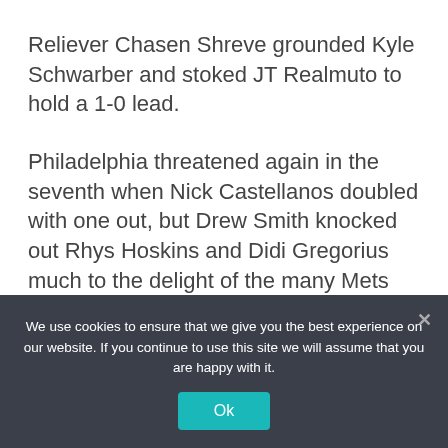Reliever Chasen Shreve grounded Kyle Schwarber and stoked JT Realmuto to hold a 1-0 lead.
Philadelphia threatened again in the seventh when Nick Castellanos doubled with one out, but Drew Smith knocked out Rhys Hoskins and Didi Gregorius much to the delight of the many Mets fans among the 26,045 in attendance at Citizens Bank Park.
Shreve and Smith combined to give up a hit in 2 ⅔
We use cookies to ensure that we give you the best experience on our website. If you continue to use this site we will assume that you are happy with it.